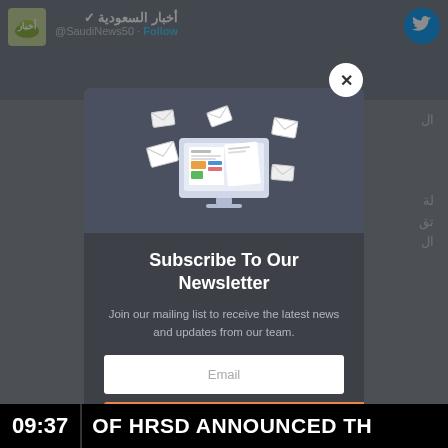[Figure (screenshot): Screenshot of a Twitter/social media page with an Arabic news account (@SaudiNews50) shown in the background, overlaid with a newsletter subscription modal popup and a news ticker bar at the bottom.]
Subscribe To Our Newsletter
Join our mailing list to receive the latest news and updates from our team.
Email
09:37 OF HRSD ANNOUNCED TH